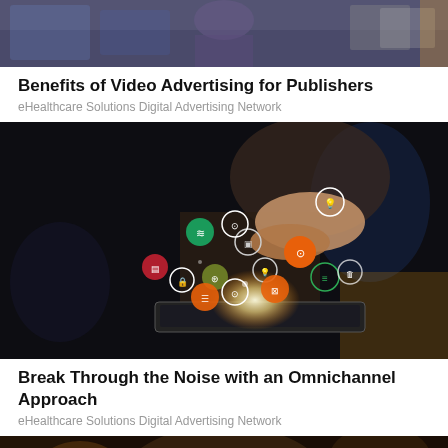[Figure (photo): Partial top photo showing a person, dark background with screens]
Benefits of Video Advertising for Publishers
eHealthcare Solutions Digital Advertising Network
[Figure (photo): Person holding a tablet with floating colorful digital icons (WiFi, location, settings, etc.) emanating light from the screen, dark background]
Break Through the Noise with an Omnichannel Approach
eHealthcare Solutions Digital Advertising Network
[Figure (photo): Partial bottom photo showing a person, warm dark background]